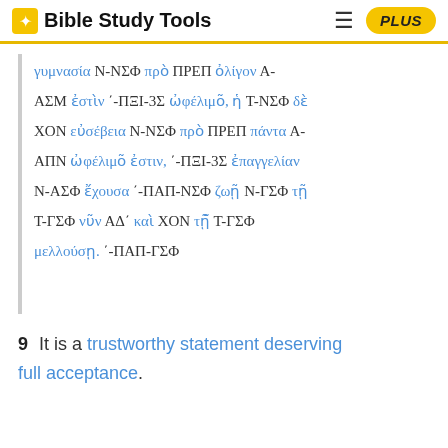Bible Study Tools
γυμνασία N-ΝΣΦ πρὸ ΠΡΕΠ ὀλίγον Α-ΑΣΜ ἐστὶν ΄-ΠΞΙ-3Σ ὠφέλιμο͂, ἡ T-ΝΣΦ δὲ ΧΟΝ εὐσέβεια Ν-ΝΣΦ πρὸ ΠΡΕΠ πάντα Α-ΑΠΝ ὠφέλιμο͂ ἐστιν, ΄-ΠΞΙ-3Σ ἐπαγγελίαν Ν-ΑΣΦ ἔχουσα ΄-ΠΑΠ-ΝΣΦ ζωῇ Ν-ΓΣΦ τῇ T-ΓΣΦ νῦν ΑΔ΄ καὶ ΧΟΝ τῇ͂ T-ΓΣΦ μελλούσῃ. ΄-ΠΑΠ-ΓΣΦ
9 It is a trustworthy statement deserving full acceptance.